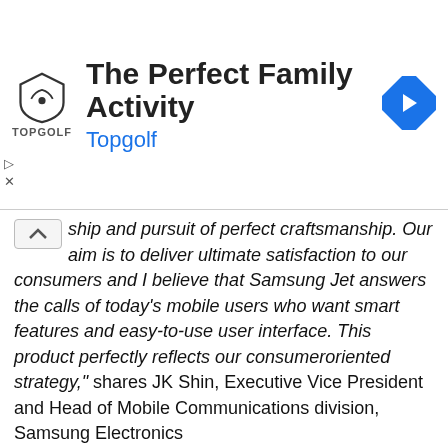[Figure (infographic): Topgolf advertisement banner with shield logo, title 'The Perfect Family Activity', subtitle 'Topgolf', and a blue diamond navigation arrow icon on the right.]
ship and pursuit of perfect craftsmanship. Our aim is to deliver ultimate satisfaction to our consumers and I believe that Samsung Jet answers the calls of today's mobile users who want smart features and easy-to-use user interface. This product perfectly reflects our consumeroriented strategy," shares JK Shin, Executive Vice President and Head of Mobile Communications division, Samsung Electronics
Specs?
800mHz Processor
3.1" AMOLED Resistive screen with WVGA resolution
HSDPA (7.2MBps), Wi-Fi, GPS, USB, Bluetooth
2/8GB Built-in Memory and micro-SD card slot
5 Megapixel Camera with autofocus, LED flash, face, smile and blink detection, wide dynamic range Geo-tagging and